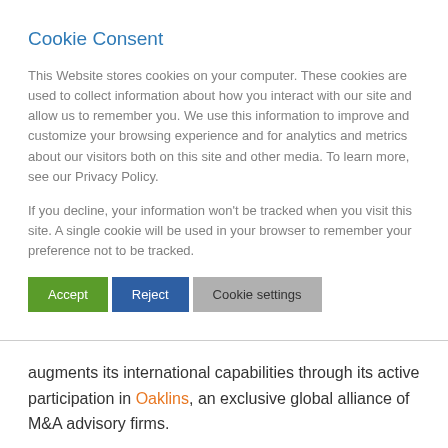Cookie Consent
This Website stores cookies on your computer. These cookies are used to collect information about how you interact with our site and allow us to remember you. We use this information to improve and customize your browsing experience and for analytics and metrics about our visitors both on this site and other media. To learn more, see our Privacy Policy.
If you decline, your information won't be tracked when you visit this site. A single cookie will be used in your browser to remember your preference not to be tracked.
augments its international capabilities through its active participation in Oaklins, an exclusive global alliance of M&A advisory firms.